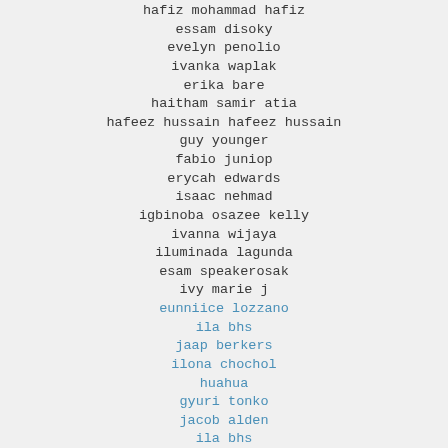hafiz mohammad hafiz
essam disoky
evelyn penolio
ivanka waplak
erika bare
haitham samir atia
hafeez hussain hafeez hussain
guy younger
fabio juniop
erycah edwards
isaac nehmad
igbinoba osazee kelly
ivanna wijaya
iluminada lagunda
esam speakerosak
ivy marie j
eunniice lozzano
ila bhs
jaap berkers
ilona chochol
huahua
gyuri tonko
jacob alden
ila bhs
ismaol olmooy